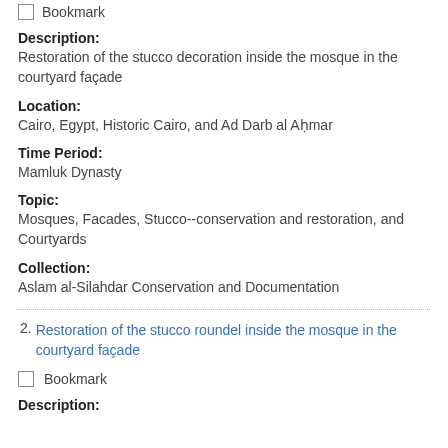Bookmark
Description:
Restoration of the stucco decoration inside the mosque in the courtyard façade
Location:
Cairo, Egypt, Historic Cairo, and Ad Darb al Aḥmar
Time Period:
Mamluk Dynasty
Topic:
Mosques, Facades, Stucco--conservation and restoration, and Courtyards
Collection:
Aslam al-Silahdar Conservation and Documentation
2. Restoration of the stucco roundel inside the mosque in the courtyard façade
Bookmark
Description: